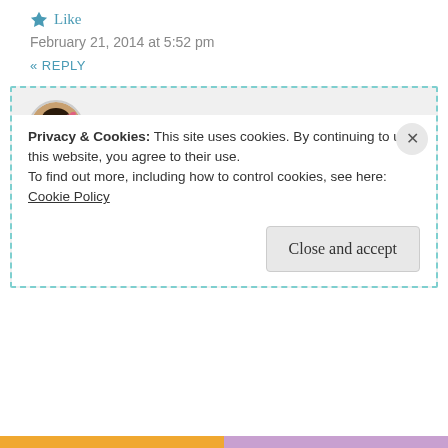Like
February 21, 2014 at 5:52 pm
« REPLY
Choc Chip Uru says:
This actually doesn't use jello – just gelatine (unless it is the same... haha... to me jello means jelly :P)
But regardless, the ice cream was exquisite!
Privacy & Cookies: This site uses cookies. By continuing to use this website, you agree to their use.
To find out more, including how to control cookies, see here:
Cookie Policy
Close and accept